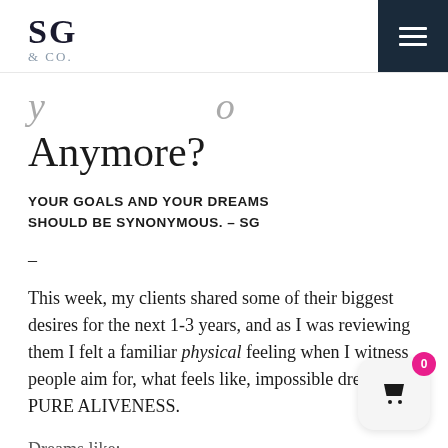SG & CO.
Anymore?
YOUR GOALS AND YOUR DREAMS SHOULD BE SYNONYMOUS. – SG
–
This week, my clients shared some of their biggest desires for the next 1-3 years, and as I was reviewing them I felt a familiar physical feeling when I witness people aim for, what feels like, impossible dreams: PURE ALIVENESS.
Dreams like: